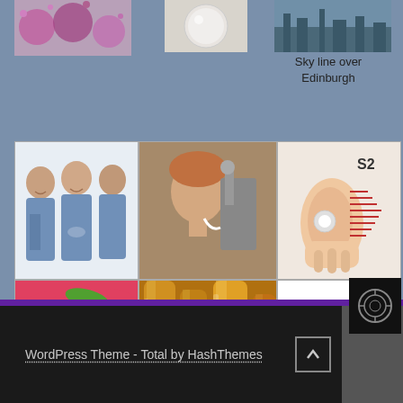[Figure (photo): Partial view of three medical staff in scrubs (cropped at top)]
[Figure (photo): Spherical object (possibly a ball or cell) on light background (cropped at top)]
[Figure (photo): Edinburgh skyline photo (cropped at top)]
Sky line over Edinburgh
[Figure (photo): Three medical staff in blue scrubs smiling]
[Figure (photo): Person looking through a microscope in a lab]
[Figure (illustration): Medical illustration of an ear with earphone, labeled S2]
[Figure (photo): Colorful assortment of pills and capsules]
[Figure (photo): Golden/amber colored test tubes or laboratory glassware]
[Figure (logo): NHS Education for Scotland logo with blue NHS text and wave graphic]
WordPress Theme - Total by HashThemes